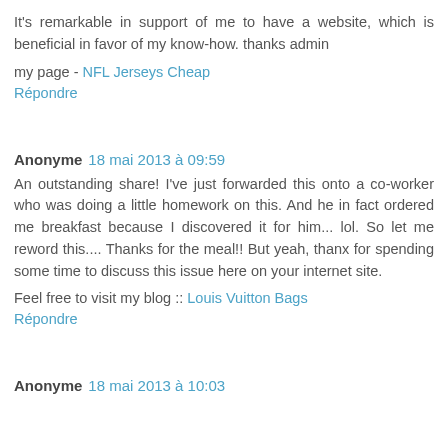It's remarkable in support of me to have a website, which is beneficial in favor of my know-how. thanks admin
my page - NFL Jerseys Cheap
Répondre
Anonyme 18 mai 2013 à 09:59
An outstanding share! I've just forwarded this onto a co-worker who was doing a little homework on this. And he in fact ordered me breakfast because I discovered it for him... lol. So let me reword this.... Thanks for the meal!! But yeah, thanx for spending some time to discuss this issue here on your internet site.
Feel free to visit my blog :: Louis Vuitton Bags
Répondre
Anonyme 18 mai 2013 à 10:03